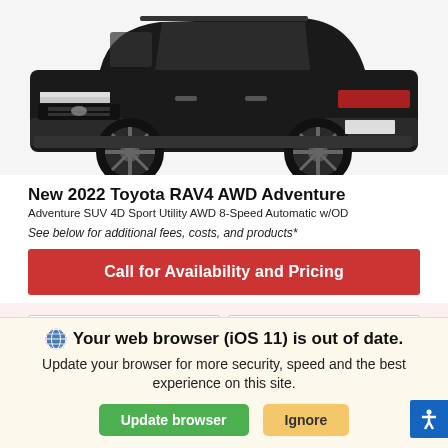[Figure (photo): Front view of a black 2022 Toyota RAV4 AWD Adventure SUV on white background]
New 2022 Toyota RAV4 AWD Adventure
Adventure SUV 4D Sport Utility AWD 8-Speed Automatic w/OD
See below for additional fees, costs, and products*
Call for Availability and Pricing
*First Name
*Last Name
*Email
Your web browser (iOS 11) is out of date. Update your browser for more security, speed and the best experience on this site.
Update browser
Ignore